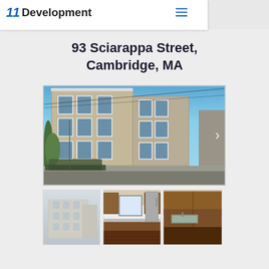11 Development
93 Sciarappa Street,
Cambridge, MA
[Figure (photo): Exterior photo of a three-story tan/beige apartment building at 93 Sciarappa Street, Cambridge MA, with blue sky and trees visible, street view with a parked SUV]
[Figure (photo): Thumbnail: faded exterior photo of the same building]
[Figure (photo): Thumbnail: interior kitchen photo showing wood cabinets, stainless refrigerator, and hardwood floors]
[Figure (photo): Thumbnail: interior kitchen/sink area with wood cabinets and granite countertop]